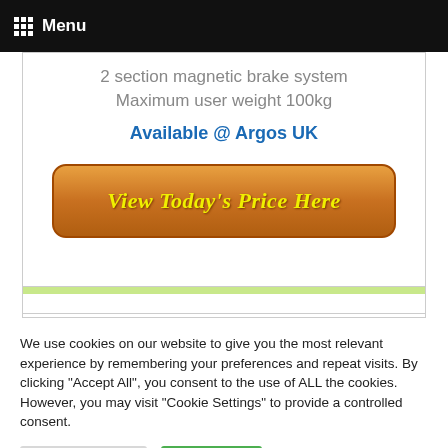Menu
2 section magnetic brake system
Maximum user weight 100kg
Available @ Argos UK
[Figure (other): Orange button with yellow italic text reading 'View Today's Price Here']
We use cookies on our website to give you the most relevant experience by remembering your preferences and repeat visits. By clicking "Accept All", you consent to the use of ALL the cookies. However, you may visit "Cookie Settings" to provide a controlled consent.
Cookie Settings
Accept All